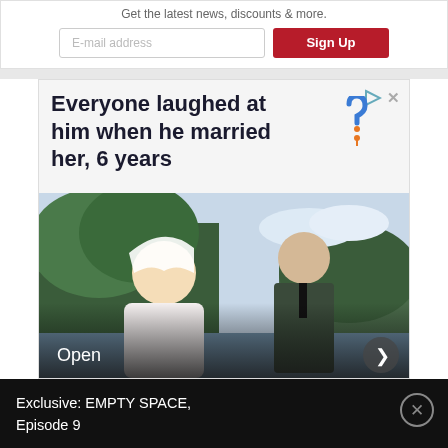Get the latest news, discounts & more.
E-mail address
Sign Up
[Figure (screenshot): Advertisement showing wedding couple photo with headline 'Everyone laughed at him when he married her, 6 years' and an Open button with arrow]
Everyone laughed at him when he married her, 6 years
Open
Exclusive: EMPTY SPACE, Episode 9